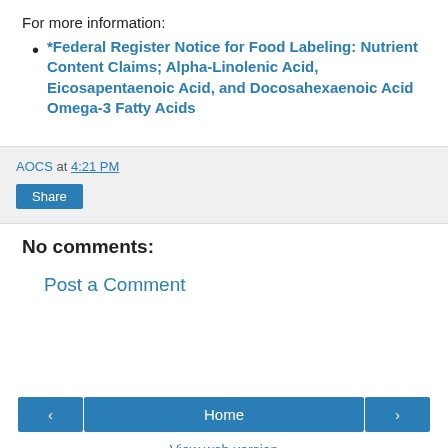For more information:
*Federal Register Notice for Food Labeling: Nutrient Content Claims; Alpha-Linolenic Acid, Eicosapentaenoic Acid, and Docosahexaenoic Acid Omega-3 Fatty Acids
AOCS at 4:21 PM
Share
No comments:
Post a Comment
Home
View web version